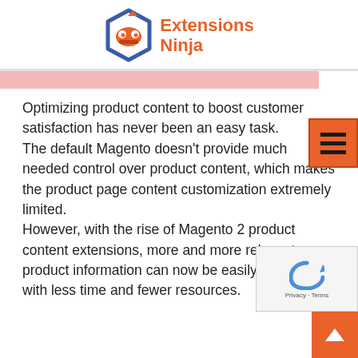[Figure (logo): Extensions Ninja logo with blue hexagon ninja mask icon and orange 'Extensions Ninja' text]
Optimizing product content to boost customer satisfaction has never been an easy task.
The default Magento doesn’t provide much needed control over product content, which makes the product page content customization extremely limited.
However, with the rise of Magento 2 product content extensions, more and more relevant product information can now be easily provided with less time and fewer resources.